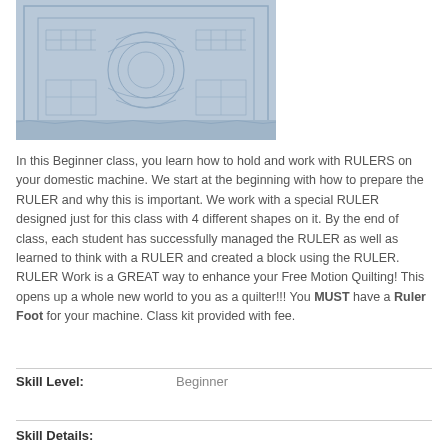[Figure (photo): A light blue quilted fabric piece with detailed ruler work stitching patterns including circular and geometric designs.]
In this Beginner class, you learn how to hold and work with RULERS on your domestic machine.  We start at the beginning with how to prepare the RULER and why this is important.  We work with a special RULER designed just for this class with 4 different shapes on it.  By the end of class, each student has successfully managed the RULER as well as learned to think with a RULER and created a block using the RULER.  RULER Work is a GREAT way to enhance your Free Motion Quilting!  This opens up a whole new world to you as a quilter!!!  You MUST have a Ruler Foot for your machine. Class kit provided with fee.
| Skill Level: | Beginner |
| --- | --- |
Skill Details: